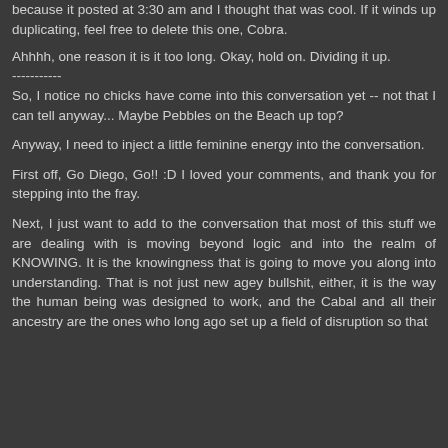because it posted at 3:30 am and I thought that was cool. If it winds up duplicating, feel free to delete this one, Cobra.
Ahhhh, one reason it is it too long. Okay, hold on. Dividing it up.
-----------
So, I notice no chicks have come into this conversation yet -- not that I can tell anyway... Maybe Pebbles on the Beach up top?
Anyway, I need to inject a little feminine energy into the conversation.
First off, Go Diego, Go!! :D I loved your comments, and thank you for stepping into the fray.
Next, I just want to add to the conversation that most of this stuff we are dealing with is moving beyond logic and into the realm of KNOWING. It is the knowingness that is going to move you along into understanding. That is not just new agey bullshit, either, it is the way the human being was designed to work, and the Cabal and all their ancestry are the ones who long ago set up a field of disruption so that